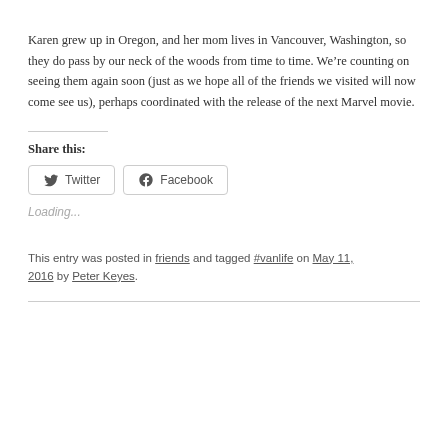Karen grew up in Oregon, and her mom lives in Vancouver, Washington, so they do pass by our neck of the woods from time to time. We’re counting on seeing them again soon (just as we hope all of the friends we visited will now come see us), perhaps coordinated with the release of the next Marvel movie.
Share this:
[Figure (other): Share buttons for Twitter and Facebook]
Loading...
This entry was posted in friends and tagged #vanlife on May 11, 2016 by Peter Keyes.